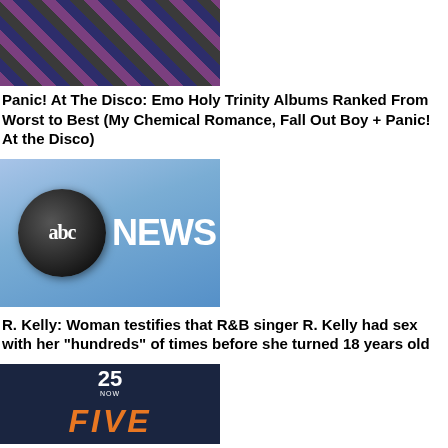[Figure (photo): Thumbnail image showing album covers and artist photos related to Panic! At The Disco, My Chemical Romance, and Fall Out Boy]
Panic! At The Disco: Emo Holy Trinity Albums Ranked From Worst to Best (My Chemical Romance, Fall Out Boy + Panic! At the Disco)
[Figure (logo): ABC News logo on blue gradient background — black circle with 'abc' text and 'NEWS' in white]
R. Kelly: Woman testifies that R&B singer R. Kelly had sex with her "hundreds" of times before she turned 18 years old
[Figure (logo): 25 NOW station logo on dark navy background with 'FIVE' in orange italic text below]